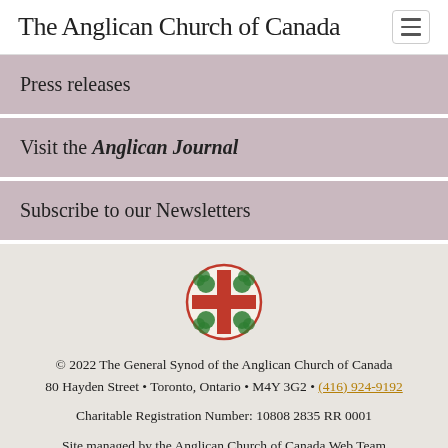The Anglican Church of Canada
Press releases
Visit the Anglican Journal
Subscribe to our Newsletters
[Figure (logo): Anglican Church of Canada logo: circular emblem with red cross and green maple leaves]
© 2022 The General Synod of the Anglican Church of Canada 80 Hayden Street • Toronto, Ontario • M4Y 3G2 • (416) 924-9192 Charitable Registration Number: 10808 2835 RR 0001 Site managed by the Anglican Church of Canada Web Team About this site | Content & privacy policies | Multi-Year